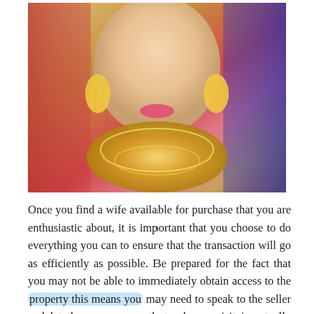[Figure (photo): A bride dressed in traditional South Asian bridal attire with elaborate gold jewelry including a necklace and earrings, wearing a colorful dupatta (veil) with gold embellishments]
Once you find a wife available for purchase that you are enthusiastic about, it is important that you choose to do everything you can to ensure that the transaction will go as efficiently as possible. Be prepared for the fact that you may not be able to immediately obtain access to the property this means you may need to speak to the seller and let them are aware that a house visit is actually scheduled. You should also find out the precise time of